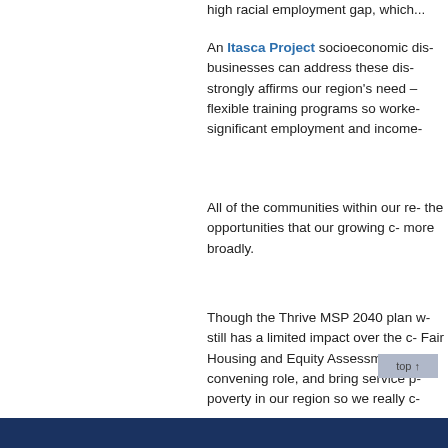high racial employment gap, which...
An Itasca Project socioeconomic dis... businesses can address these dis... strongly affirms our region's need – flexible training programs so worke... significant employment and income...
All of the communities within our re... the opportunities that our growing c... more broadly.
Though the Thrive MSP 2040 plan w... still has a limited impact over the c... Fair Housing and Equity Assessme... convening role, and bring service p... poverty in our region so we really c... beyond.
Tags: equity